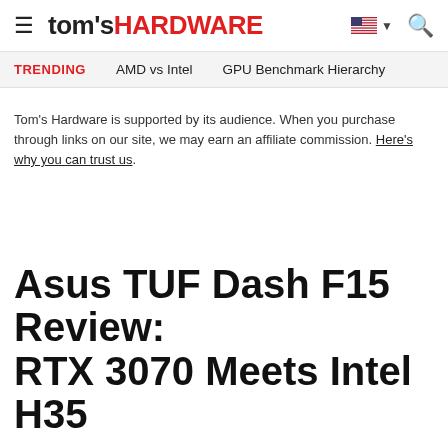tom's HARDWARE
TRENDING   AMD vs Intel   GPU Benchmark Hierarchy
Tom's Hardware is supported by its audience. When you purchase through links on our site, we may earn an affiliate commission. Here's why you can trust us.
Asus TUF Dash F15 Review: RTX 3070 Meets Intel H35